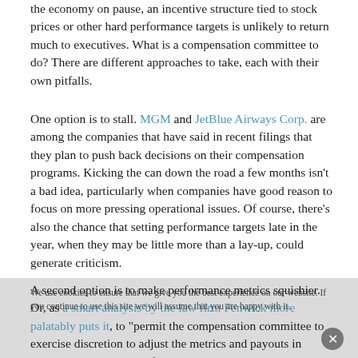the economy on pause, an incentive structure tied to stock prices or other hard performance targets is unlikely to return much to executives. What is a compensation committee to do? There are different approaches to take, each with their own pitfalls.
One option is to stall. MGM and JetBlue Airways Corp. are among the companies that have said in recent filings that they plan to push back decisions on their compensation programs. Kicking the can down the road a few months isn't a bad idea, particularly when companies have good reason to focus on more pressing operational issues. Of course, there's also the chance that setting performance targets late in the year, when they may be little more than a lay-up, could generate criticism.
A second option is to make performance metrics squishier. Or, as a smart analysis by the law firm Fenwick more palatably puts it, to "permit the compensation committee to exercise discretion to adjust the metrics and payouts in response to the impact of COVID-19." Much better. The key, Fenwick says, is to make the plan "tailored enough" that it is still considered performance-based, while preserving